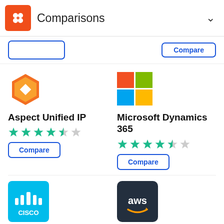Comparisons
[Figure (logo): Aspect Unified IP logo - orange hexagon with white diamond]
Aspect Unified IP
[Figure (other): 4.5 out of 5 stars rating (teal stars)]
Compare
[Figure (logo): Microsoft logo - four colored squares (red, green, blue, yellow)]
Microsoft Dynamics 365
[Figure (other): 4.5 out of 5 stars rating (teal stars)]
Compare
[Figure (logo): Cisco logo - cyan/teal background with white cisco branding and signal bars]
Cisco Unified Contact
[Figure (logo): AWS logo - dark navy background with white aws text and orange smile]
Amazon Connect